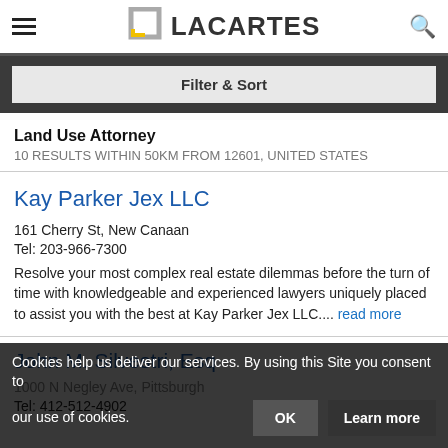LACARTES
Filter & Sort
Land Use Attorney
10 RESULTS WITHIN 50KM FROM 12601, UNITED STATES
Kay Parker Jex LLC
161 Cherry St, New Canaan
Tel: 203-966-7300
Resolve your most complex real estate dilemmas before the turn of time with knowledgeable and experienced lawyers uniquely placed to assist you with the best at Kay Parker Jex LLC.... read more
John M. Silvestri, Esq
1000 N Negley Ave, Pittsburgh
Tel: 412-512-4902
Cookies help us deliver our services. By using this Site you consent to our use of cookies.